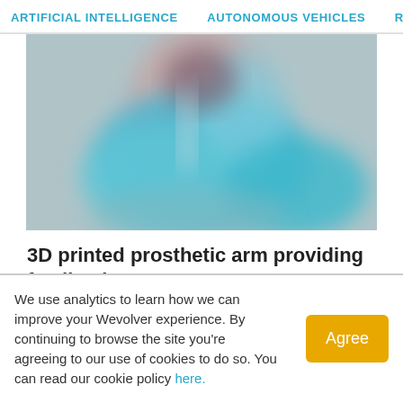ARTIFICIAL INTELLIGENCE   AUTONOMOUS VEHICLES   RO...
[Figure (photo): A blurred photograph of a person in a blue outfit, possibly working with a prosthetic arm or medical device. The image has a teal/blue color cast and is intentionally blurred.]
3D printed prosthetic arm providing feedback
We use analytics to learn how we can improve your Wevolver experience. By continuing to browse the site you're agreeing to our use of cookies to do so. You can read our cookie policy here.